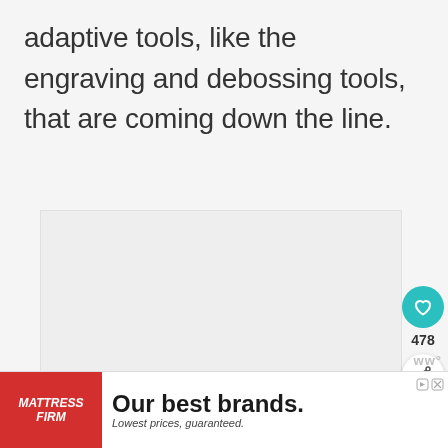adaptive tools, like the engraving and debossing tools,  that are coming down the line.
[Figure (other): Large empty content placeholder area with light gray background]
[Figure (other): Like button (teal circle with heart icon) showing 478 likes, and a share button below it]
[Figure (other): What's Next panel showing 'How to Make a T-Shirt with ...' with thumbnail]
[Figure (other): Mattress Firm advertisement banner: 'Our best brands. Lowest prices, guaranteed.']